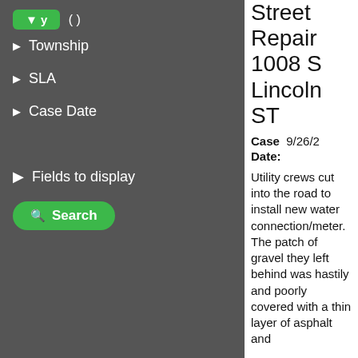Township
SLA
Case Date
Fields to display
Search
Street Repair 1008 S Lincoln ST
Case Date: 9/26/2
Utility crews cut into the road to install new water connection/meter. The patch of gravel they left behind was hastily and poorly covered with a thin layer of asphalt and